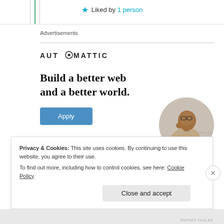★ Liked by 1 person
Advertisements
[Figure (logo): Automattic logo with stylized O containing a dot]
Build a better web and a better world.
[Figure (photo): Circular portrait of a man in a beige shirt, leaning on his hand, looking upward thoughtfully]
Apply (button)
REPORT THIS AD
Privacy & Cookies: This site uses cookies. By continuing to use this website, you agree to their use.
To find out more, including how to control cookies, see here: Cookie Policy
Close and accept